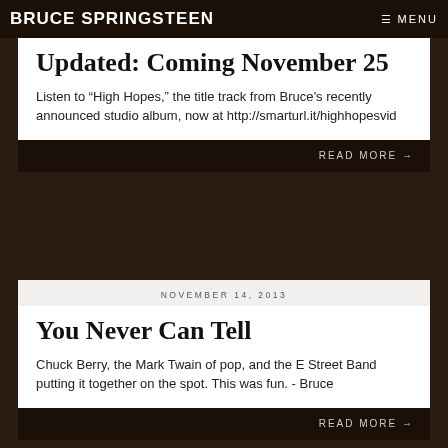BRUCE SPRINGSTEEN | MENU
Updated: Coming November 25
Listen to “High Hopes,” the title track from Bruce’s recently announced studio album, now at http://smarturl.it/highhopesvid
READ MORE →
NOVEMBER 14, 2013
You Never Can Tell
Chuck Berry, the Mark Twain of pop, and the E Street Band putting it together on the spot. This was fun. - Bruce
READ MORE →